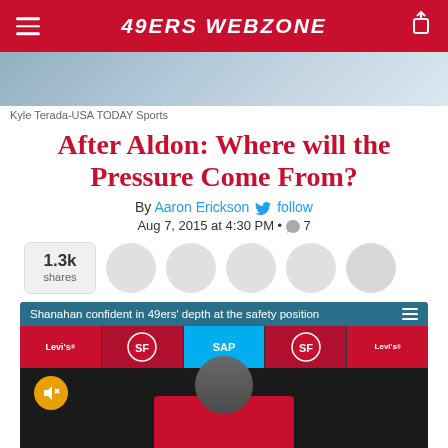49ERS WEBZONE
[Figure (photo): Sports photo strip showing players in action]
Kyle Terada-USA TODAY Sports
After Aldon: Where will the Pressure Come From?
By Aaron Erickson follow
Aug 7, 2015 at 4:30 PM • 7
1.3k shares
[Figure (screenshot): Video embed: Shanahan confident in 49ers' depth at the safety position — press conference video thumbnail showing coach at podium with 49ers and Levi's logos in background]